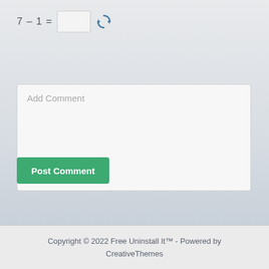Add Comment
Post Comment
Copyright © 2022 Free Uninstall It™ - Powered by CreativeThemes